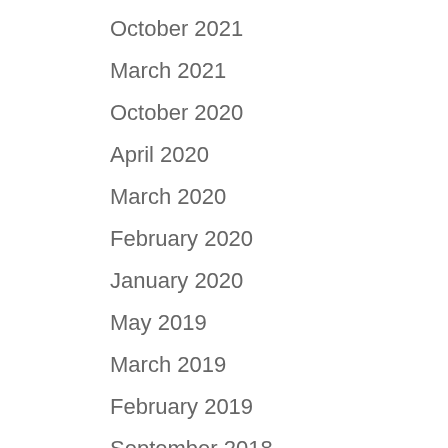October 2021
March 2021
October 2020
April 2020
March 2020
February 2020
January 2020
May 2019
March 2019
February 2019
September 2018
May 2018